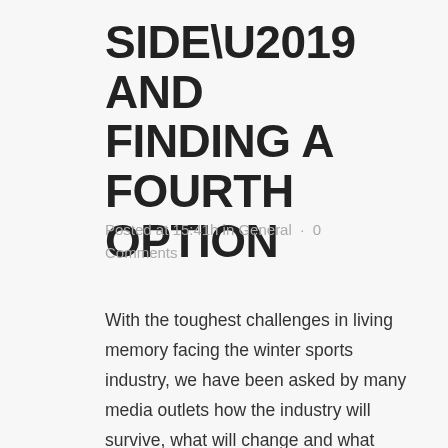SIDE’ AND FINDING A FOURTH OPTION
Posted at 15:41h in General · 0 Comments
With the toughest challenges in living memory facing the winter sports industry, we have been asked by many media outlets how the industry will survive, what will change and what challenges should we prepare for in the future?